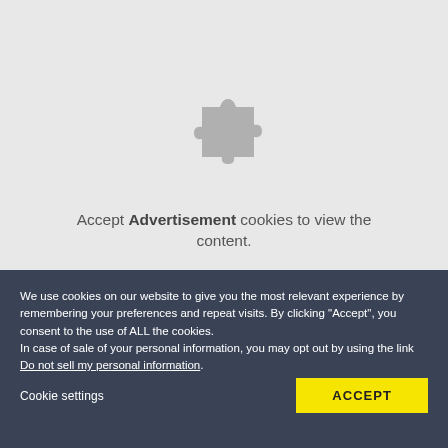[Figure (illustration): Gray puzzle piece icon centered in a light gray rectangle]
Accept Advertisement cookies to view the content.
We use cookies on our website to give you the most relevant experience by remembering your preferences and repeat visits. By clicking “Accept”, you consent to the use of ALL the cookies.
In case of sale of your personal information, you may opt out by using the link Do not sell my personal information.
Cookie settings
ACCEPT